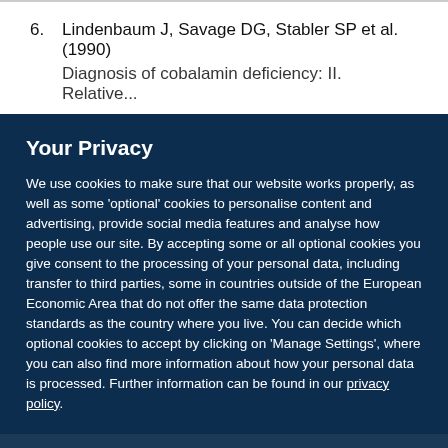6. Lindenbaum J, Savage DG, Stabler SP et al. (1990)
Diagnosis of cobalamin deficiency: II. Relative...
Your Privacy
We use cookies to make sure that our website works properly, as well as some 'optional' cookies to personalise content and advertising, provide social media features and analyse how people use our site. By accepting some or all optional cookies you give consent to the processing of your personal data, including transfer to third parties, some in countries outside of the European Economic Area that do not offer the same data protection standards as the country where you live. You can decide which optional cookies to accept by clicking on 'Manage Settings', where you can also find more information about how your personal data is processed. Further information can be found in our privacy policy.
Accept all cookies
Manage preferences